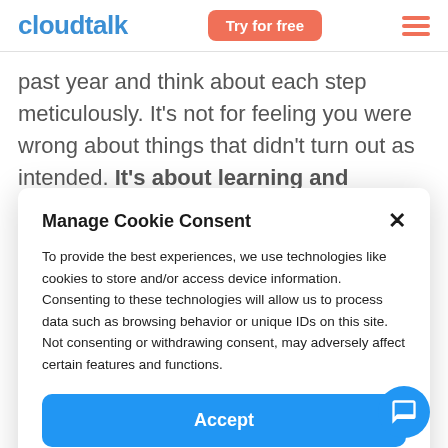cloudtalk | Try for free
past year and think about each step meticulously. It's not for feeling you were wrong about things that didn't turn out as intended. It's about learning and improving the essential points to enable your team
Manage Cookie Consent
To provide the best experiences, we use technologies like cookies to store and/or access device information. Consenting to these technologies will allow us to process data such as browsing behavior or unique IDs on this site. Not consenting or withdrawing consent, may adversely affect certain features and functions.
Accept
Setup preferences